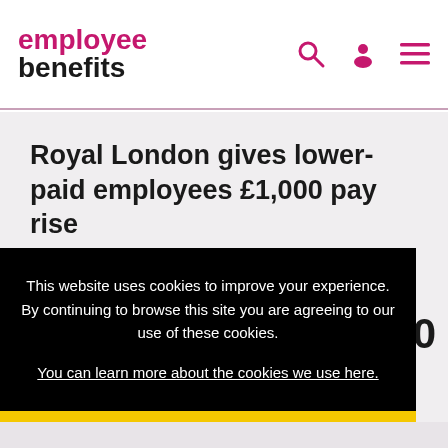employee benefits
Royal London gives lower-paid employees £1,000 pay rise
This website uses cookies to improve your experience. By continuing to browse this site you are agreeing to our use of these cookies.
You can learn more about the cookies we use here.
x